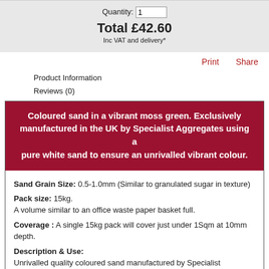Quantity: 1
Total £42.60
Inc VAT and delivery*
Print   Share
Product Information
Reviews (0)
Coloured sand in a vibrant moss green. Exclusively manufactured in the UK by Specialist Aggregates using a pure white sand to ensure an unrivalled vibrant colour.
Sand Grain Size: 0.5-1.0mm (Similar to granulated sugar in texture)
Pack size: 15kg.
A volume similar to an office waste paper basket full.
Coverage : A single 15kg pack will cover just under 1Sqm at 10mm depth.
Description & Use:
Unrivalled quality coloured sand manufactured by Specialist Aggregates in the UK using non toxic organic pigments and resins. Uniquely the product is made with a pure white sand ensuring consistent bright colours. Our clients have used this sand for art and museum installations, photographic and film applications as well as crafts and event decoration.
The sand is supplied dry for ease of handling, it is colourfast and suitable for use